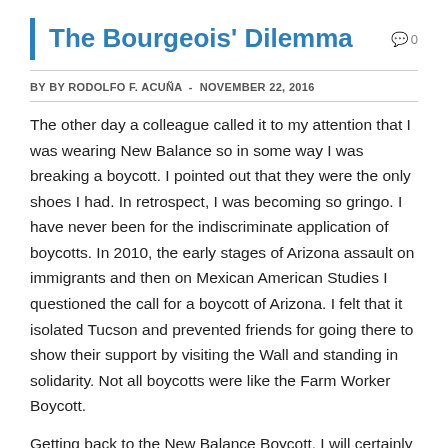The Bourgeois' Dilemma
BY BY RODOLFO F. ACUÑA  -  NOVEMBER 22, 2016
The other day a colleague called it to my attention that I was wearing New Balance so in some way I was breaking a boycott. I pointed out that they were the only shoes I had. In retrospect, I was becoming so gringo. I have never been for the indiscriminate application of boycotts. In 2010, the early stages of Arizona assault on immigrants and then on Mexican American Studies I questioned the call for a boycott of Arizona. I felt that it isolated Tucson and prevented friends for going there to show their support by visiting the Wall and standing in solidarity. Not all boycotts were like the Farm Worker Boycott.
Getting back to the New Balance Boycott, I will certainly not